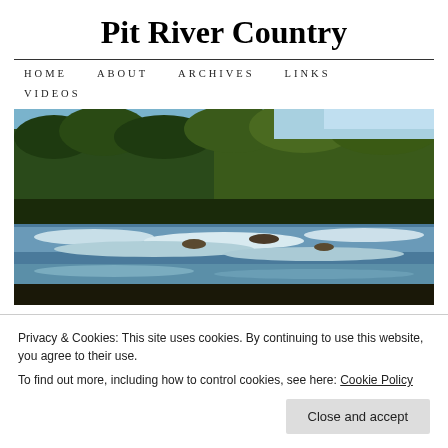Pit River Country
HOME   ABOUT   ARCHIVES   LINKS   VIDEOS
[Figure (photo): Wide landscape photo of the Pit River with flowing water over rocks, trees lining both banks, blue sky visible above.]
← Burney Library to
Happy Native
Search
Privacy & Cookies: This site uses cookies. By continuing to use this website, you agree to their use.
To find out more, including how to control cookies, see here: Cookie Policy
Close and accept
Entries